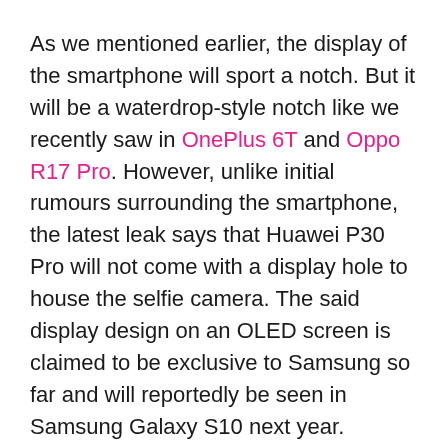As we mentioned earlier, the display of the smartphone will sport a notch. But it will be a waterdrop-style notch like we recently saw in OnePlus 6T and Oppo R17 Pro. However, unlike initial rumours surrounding the smartphone, the latest leak says that Huawei P30 Pro will not come with a display hole to house the selfie camera. The said display design on an OLED screen is claimed to be exclusive to Samsung so far and will reportedly be seen in Samsung Galaxy S10 next year.
However, there is no confirmation by the company about the notch design or the display hole of Huawei P30 Pro, so we will have to wait till we know for sure. Speaking about the camera of the upcoming device, what we know so far is from a